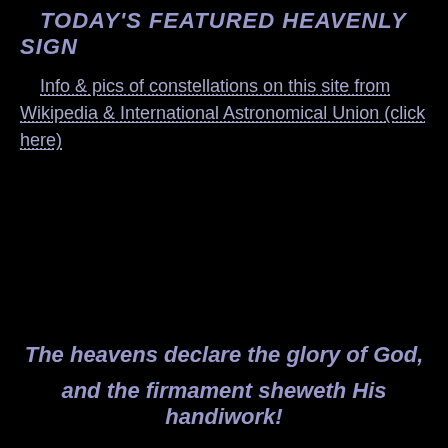TODAY'S FEATURED HEAVENLY SIGN
Info & pics of constellations on this site from Wikipedia & International Astronomical Union (click here)
The heavens declare the glory of God, and the firmament sheweth His handiwork!